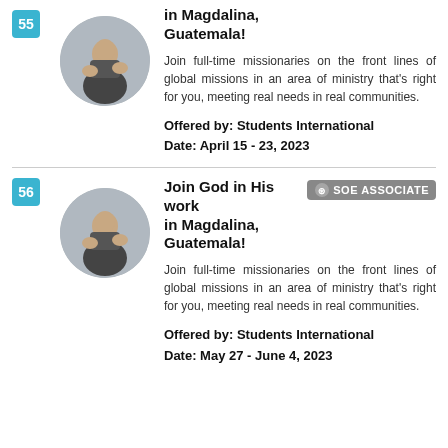in Magdalina, Guatemala!
Join full-time missionaries on the front lines of global missions in an area of ministry that's right for you, meeting real needs in real communities.
Offered by: Students International
Date: April 15 - 23, 2023
Join God in His work in Magdalina, Guatemala!
Join full-time missionaries on the front lines of global missions in an area of ministry that's right for you, meeting real needs in real communities.
Offered by: Students International
Date: May 27 - June 4, 2023